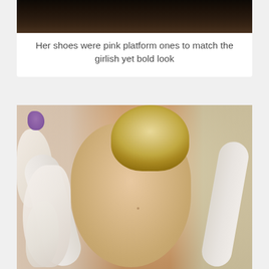[Figure (photo): Top portion of a dark/brown background photo, appears to be cropped — only the lower portion visible showing a dark scene.]
Her shoes were pink platform ones to match the girlish yet bold look
[Figure (photo): Close-up photo of the back of a blonde woman with an updo hairstyle, wearing a white ruffled/floral strap dress. A purple flower is visible in the top left. The background is soft and blurred with green/cream tones.]